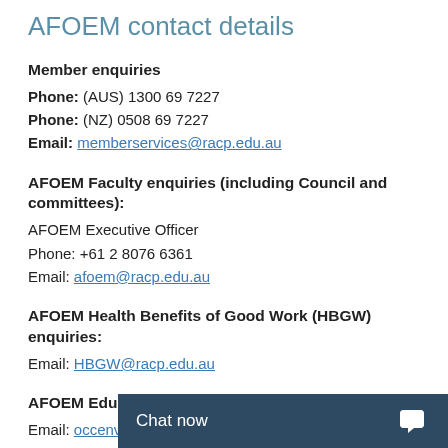AFOEM contact details
Member enquiries
Phone: (AUS) 1300 69 7227
Phone: (NZ) 0508 69 7227
Email: memberservices@racp.edu.au
AFOEM Faculty enquiries (including Council and committees):
AFOEM Executive Officer
Phone: +61 2 8076 6361
Email: afoem@racp.edu.au
AFOEM Health Benefits of Good Work (HBGW) enquiries:
Email: HBGW@racp.edu.au
AFOEM Education enquiries:
Email: occenvmed@racp.edu.au